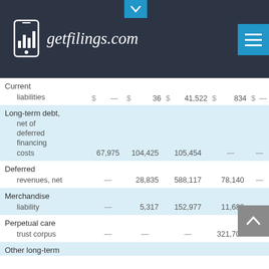getfilings.com
|  |  |  |  |  |  |  |  |  |  |
| --- | --- | --- | --- | --- | --- | --- | --- | --- | --- |
| Current |  |  |  |  |  |  |  |  |  |
| liabilities | $ | — | $ | 36 | $ | 41,522 | $ | 834 | $ | — |
| Long-term debt, net of deferred financing costs |  |  | 67,975 | 104,425 | 105,454 |  | — |  | — |
| Deferred revenues, net |  | — |  | 28,835 | 588,117 |  | 78,140 |  | — |
| Merchandise liability |  | — |  | 5,317 | 152,977 |  | 11,680 |  | — |
| Perpetual care trust corpus |  | — |  | — | — |  | 321,700 |  | — |
| Other long-term |  |  |  |  |  |  |  |  |  |